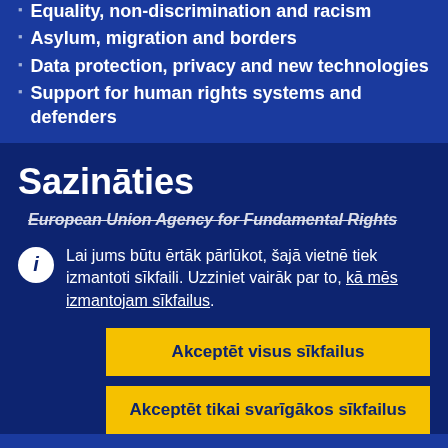Equality, non-discrimination and racism
Asylum, migration and borders
Data protection, privacy and new technologies
Support for human rights systems and defenders
Sazināties
European Union Agency for Fundamental Rights
Lai jums būtu ērtāk pārlūkot, šajā vietnē tiek izmantoti sīkfaili. Uzziniet vairāk par to, kā mēs izmantojam sīkfailus.
Akceptēt visus sīkfailus
Akceptēt tikai svarīgākos sīkfailus